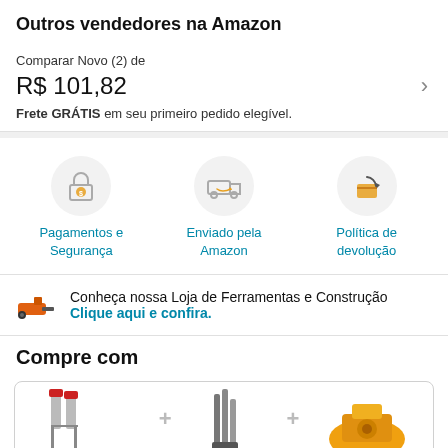Outros vendedores na Amazon
Comparar Novo (2) de
R$ 101,82
Frete GRÁTIS em seu primeiro pedido elegível.
[Figure (infographic): Three icons: Pagamentos e Segurança (padlock with dollar sign), Enviado pela Amazon (delivery truck), Política de devolução (box with return arrow)]
Conheça nossa Loja de Ferramentas e Construção Clique aqui e confira.
Compre com
[Figure (photo): Three product images partially visible: metal clamps, drill bits, and a yellow tool/equipment]